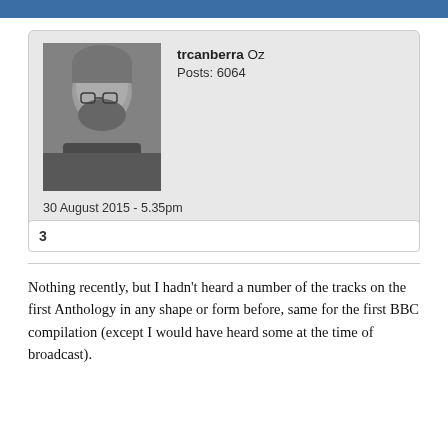[Figure (photo): Avatar photo of user trcanberra — black and white photo of a bearded man with glasses]
trcanberra Oz
Posts: 6064
30 August 2015 - 5.35pm
3
Nothing recently, but I hadn't heard a number of the tracks on the first Anthology in any shape or form before, same for the first BBC compilation (except I would have heard some at the time of broadcast).